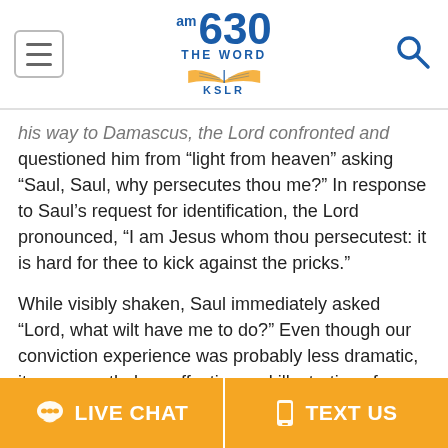AM 630 THE WORD KSLR
his way to Damascus, the Lord confronted and questioned him from “light from heaven” asking “Saul, Saul, why persecutes thou me?” In response to Saul’s request for identification, the Lord pronounced, “I am Jesus whom thou persecutest: it is hard for thee to kick against the pricks.”
While visibly shaken, Saul immediately asked “Lord, what wilt have me to do?” Even though our conviction experience was probably less dramatic, it was nonetheless effective and illustrative of our lost and sin-sick condition. Our own personal “Damascus road confrontation” conveyed to us that we were at enmity with Christ just as it did to Saul. By recognizing our
LIVE CHAT   TEXT US